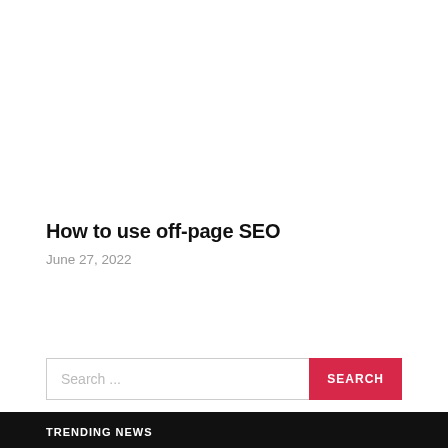How to use off-page SEO
June 27, 2022
[Figure (other): Search bar with text input reading 'Search ...' and a pink/red SEARCH button]
TRENDING NEWS